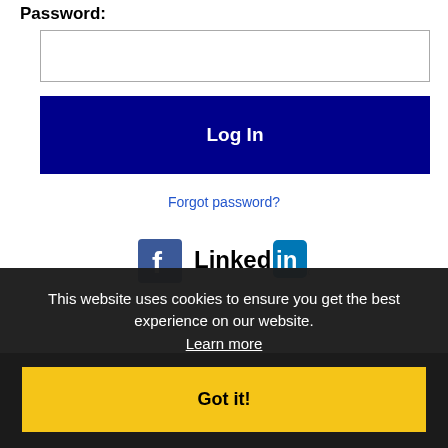Password:
Log In
Forgot password?
[Figure (logo): Facebook and LinkedIn social login icons]
Get the latest Arizona jobs by following @resnetAZ on Twitter!
Or my RSS job feeds
This website uses cookies to ensure you get the best experience on our website. Learn more
Got it!